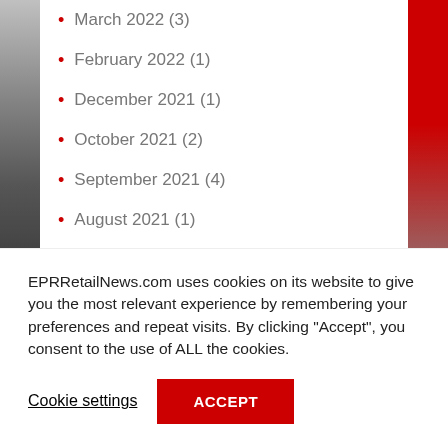March 2022 (3)
February 2022 (1)
December 2021 (1)
October 2021 (2)
September 2021 (4)
August 2021 (1)
June 2021 (16)
May 2021 (1)
EPRRetailNews.com uses cookies on its website to give you the most relevant experience by remembering your preferences and repeat visits. By clicking “Accept”, you consent to the use of ALL the cookies.
Cookie settings
ACCEPT